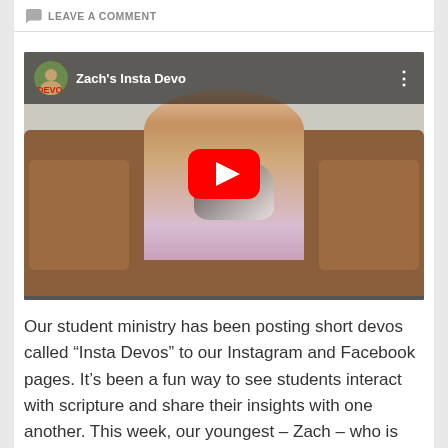LEAVE A COMMENT
[Figure (screenshot): Embedded YouTube video thumbnail showing a boy sitting on a brown couch holding a cat, with YouTube play button overlay. Channel name 'Zach's Insta Devo' shown in top bar with avatar.]
Our student ministry has been posting short devos called “Insta Devos” to our Instagram and Facebook pages. It’s been a fun way to see students interact with scripture and share their insights with one another. This week, our youngest – Zach – who is